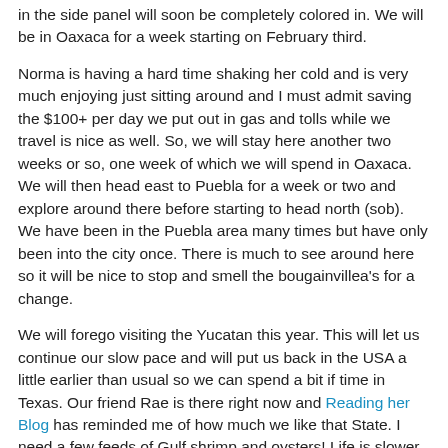in the side panel will soon be completely colored in. We will be in Oaxaca for a week starting on February third.
Norma is having a hard time shaking her cold and is very much enjoying just sitting around and I must admit saving the $100+ per day we put out in gas and tolls while we travel is nice as well. So, we will stay here another two weeks or so, one week of which we will spend in Oaxaca. We will then head east to Puebla for a week or two and explore around there before starting to head north (sob). We have been in the Puebla area many times but have only been into the city once. There is much to see around here so it will be nice to stop and smell the bougainvillea's for a change.
We will forego visiting the Yucatan this year. This will let us continue our slow pace and will put us back in the USA a little earlier than usual so we can spend a bit if time in Texas. Our friend Rae is there right now and Reading her Blog has reminded me of how much we like that State. I need a few feeds of Gulf shrimp and oysters! Life is slower this year, but still Good! We are not sure where we will end up in Texas but it will be somewhere on the Gulf Coast, maybe near Corpus Christi.